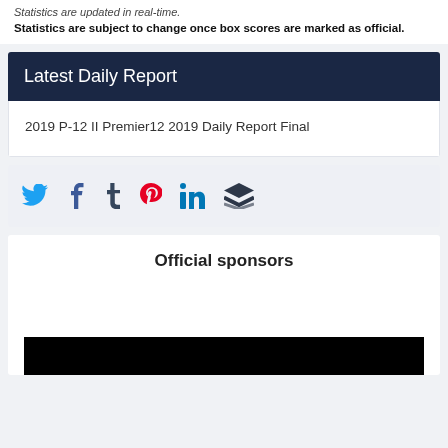Statistics are updated in real-time.
Statistics are subject to change once box scores are marked as official.
Latest Daily Report
2019 P-12 II Premier12 2019 Daily Report Final
[Figure (infographic): Social media share icons: Twitter (blue bird), Facebook (blue f), Tumblr (blue t), Pinterest (red P), LinkedIn (blue in), Buffer (dark stacked layers icon)]
Official sponsors
[Figure (photo): Black rectangle placeholder for sponsor advertisement image]